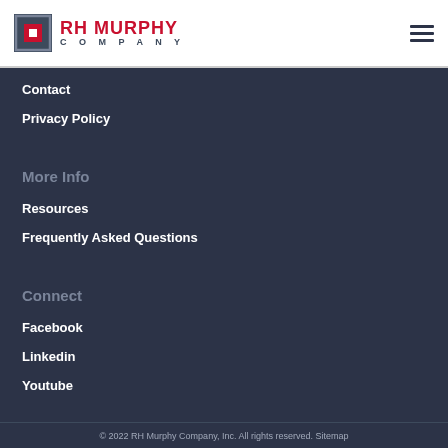[Figure (logo): RH Murphy Company logo with square icon and text]
Contact
Privacy Policy
More Info
Resources
Frequently Asked Questions
Connect
Facebook
Linkedin
Youtube
© 2022 RH Murphy Company, Inc. All rights reserved. Sitemap